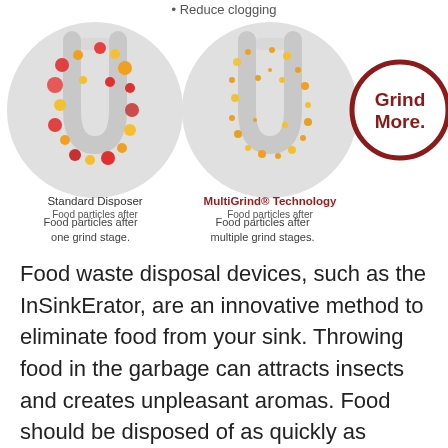[Figure (illustration): Two circular diagrams comparing Standard Disposer vs MultiGrind Technology for food particle grinding, plus a 'Grind More.' badge circle on the right]
Standard Disposer
Food particles after one grind stage.
MultiGrind® Technology
Food particles after multiple grind stages.
Food waste disposal devices, such as the InSinkErator, are an innovative method to eliminate food from your sink. Throwing food in the garbage can attracts insects and creates unpleasant aromas. Food should be disposed of as quickly as feasible through the wastewater system. This is safe and hygienic, and it helps to